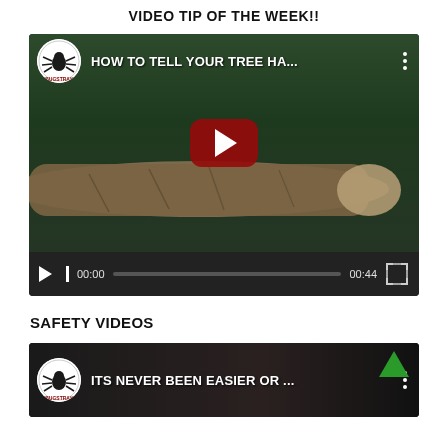VIDEO TIP OF THE WEEK!!
[Figure (screenshot): YouTube video embed showing 'HOW TO TELL YOUR TREE HA...' with BugsGraf channel logo, play button overlay on grass/log background, and video controls showing 00:00 / 00:44]
SAFETY VIDEOS
[Figure (screenshot): YouTube video embed showing 'ITS NEVER BEEN EASIER OR ...' with BugsGraf channel logo and an upward green arrow, dark background]